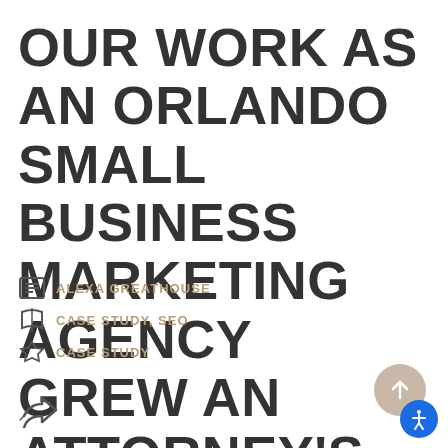OUR WORK AS AN ORLANDO SMALL BUSINESS MARKETING AGENCY GREW AN ATTORNEY'S PRESENCE
ALEXA GREATHOUSE
CASE STUDY, SEO
CASE STUDY